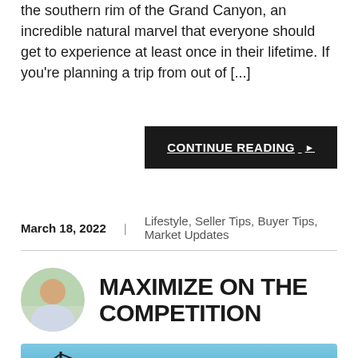the southern rim of the Grand Canyon, an incredible natural marvel that everyone should get to experience at least once in their lifetime. If you're planning a trip from out of [...]
CONTINUE READING ▶
March 18, 2022    Lifestyle, Seller Tips, Buyer Tips, Market Updates
[Figure (photo): Circular avatar photo of a bald man in a white shirt against a green outdoor background]
MAXIMIZE ON THE COMPETITION
[Figure (photo): Thumbnail image with blue sky background and partial crane visible at bottom left]